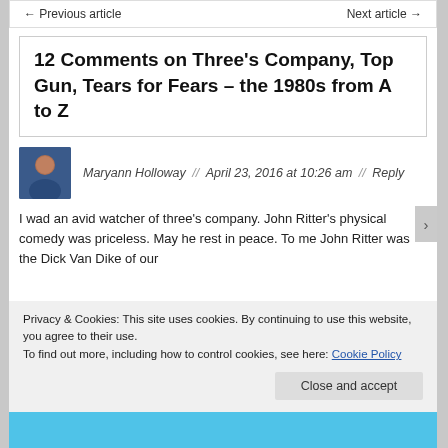← Previous article    Next article →
12 Comments on Three's Company, Top Gun, Tears for Fears – the 1980s from A to Z
Maryann Holloway // April 23, 2016 at 10:26 am // Reply
I wad an avid watcher of three's company. John Ritter's physical comedy was priceless. May he rest in peace. To me John Ritter was the Dick Van Dike of our
Privacy & Cookies: This site uses cookies. By continuing to use this website, you agree to their use.
To find out more, including how to control cookies, see here: Cookie Policy